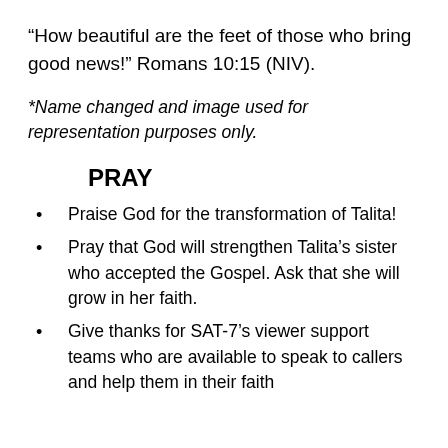“How beautiful are the feet of those who bring good news!” Romans 10:15 (NIV).
*Name changed and image used for representation purposes only.
PRAY
Praise God for the transformation of Talita!
Pray that God will strengthen Talita’s sister who accepted the Gospel. Ask that she will grow in her faith.
Give thanks for SAT-7’s viewer support teams who are available to speak to callers and help them in their faith